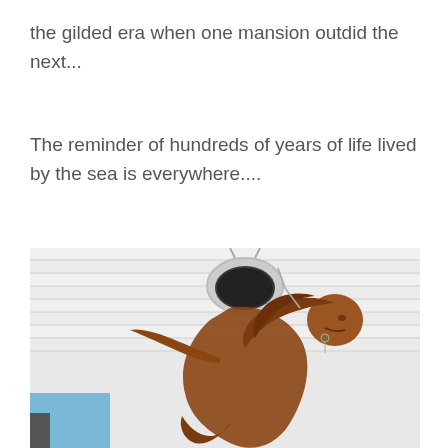the gilded era when one mansion outdid the next...
The reminder of hundreds of years of life lived by the sea is everywhere....
[Figure (photo): A bronze mermaid sculpture suspended from a white beadboard ceiling by chains, photographed from below at an angle, showing the figure's flowing hair and outstretched arm with a blue background visible through a window.]